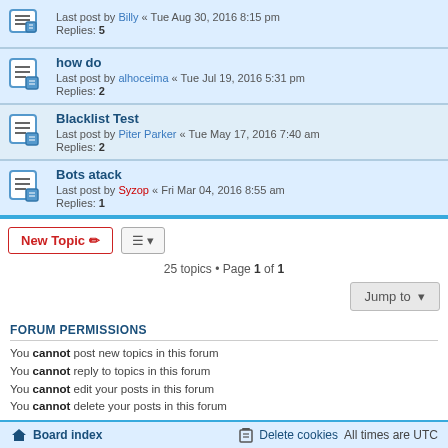how do — Last post by alhoceima « Tue Jul 19, 2016 5:31 pm — Replies: 2
Blacklist Test — Last post by Piter Parker « Tue May 17, 2016 7:40 am — Replies: 2
Bots atack — Last post by Syzop « Fri Mar 04, 2016 8:55 am — Replies: 1
25 topics • Page 1 of 1
You cannot post new topics in this forum
You cannot reply to topics in this forum
You cannot edit your posts in this forum
You cannot delete your posts in this forum
Board index | Delete cookies | All times are UTC
Powered by phpBB® Forum Software © phpBB Limited
Privacy | Terms